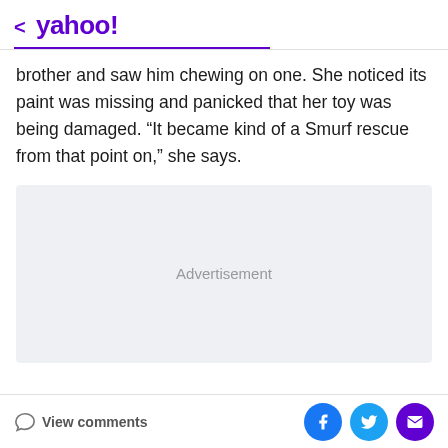< yahoo!
brother and saw him chewing on one. She noticed its paint was missing and panicked that her toy was being damaged. “It became kind of a Smurf rescue from that point on,” she says.
[Figure (other): Advertisement placeholder box with light gray background]
View comments